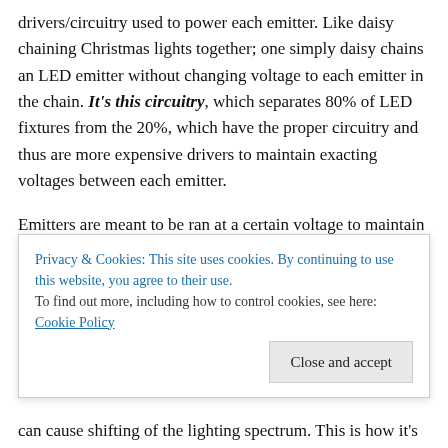drivers/circuitry used to power each emitter. Like daisy chaining Christmas lights together; one simply daisy chains an LED emitter without changing voltage to each emitter in the chain. It's this circuitry, which separates 80% of LED fixtures from the 20%, which have the proper circuitry and thus are more expensive drivers to maintain exacting voltages between each emitter.
Emitters are meant to be ran at a certain voltage to maintain their spectral quality.
Without the proper divers, if dimmed the emitters will have
Privacy & Cookies: This site uses cookies. By continuing to use this website, you agree to their use. To find out more, including how to control cookies, see here: Cookie Policy
can cause shifting of the lighting spectrum. This is how it's